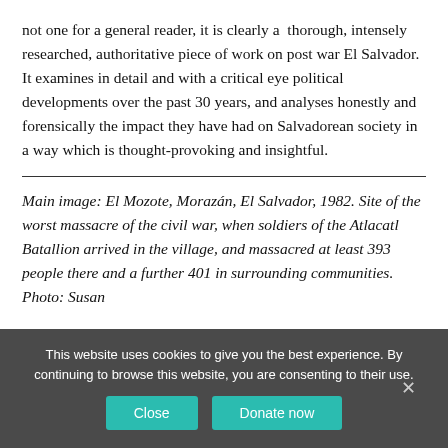not one for a general reader, it is clearly a thorough, intensely researched, authoritative piece of work on post war El Salvador. It examines in detail and with a critical eye political developments over the past 30 years, and analyses honestly and forensically the impact they have had on Salvadorean society in a way which is thought-provoking and insightful.
Main image: El Mozote, Morazán, El Salvador, 1982. Site of the worst massacre of the civil war, when soldiers of the Atlacatl Batallion arrived in the village, and massacred at least 393 people there and a further 401 in surrounding communities. Photo: Susan
This website uses cookies to give you the best experience. By continuing to browse this website, you are consenting to their use.